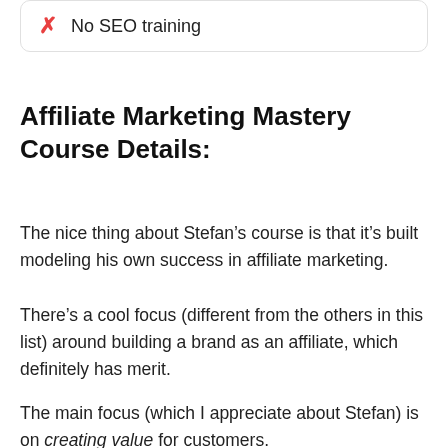No SEO training
Affiliate Marketing Mastery Course Details:
The nice thing about Stefan’s course is that it’s built modeling his own success in affiliate marketing.
There’s a cool focus (different from the others in this list) around building a brand as an affiliate, which definitely has merit.
The main focus (which I appreciate about Stefan) is on creating value for customers.